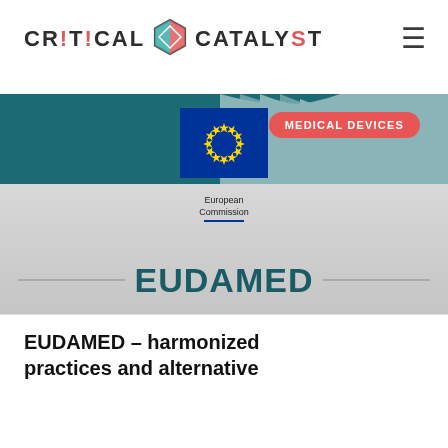[Figure (logo): Critical Catalyst logo with hexagon icon and hamburger menu icon]
[Figure (illustration): EUDAMED article header image showing European Commission logo with blue background, wave lines, EU flag, 'European Commission' label, a 'MEDICAL DEVICES' tag in red, and large 'EUDAMED' text on grey band]
EUDAMED – harmonized practices and alternative